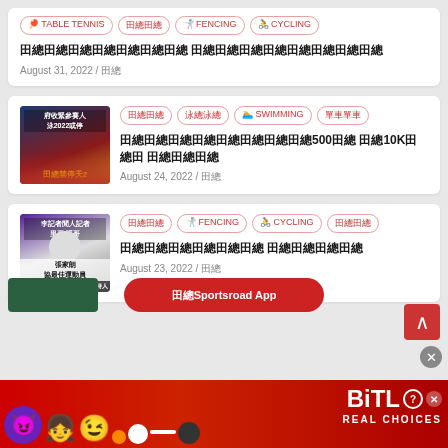Card 1: TABLE TENNIS | 田總 | 擊劍 FENCING | 單車 CYCLING — 八月三十一日，二○二二 — August 31, 2022 / 田總
Card 2 with image — 田總 | 泳總 | 游泳 SWIMMING | 單車 — 政府收緊參賽人數泳2022或停？500公尺 1000m 10K — August 24, 2022 / 田總
Card 3 with image — 田總 | 擊劍 FENCING | 單車 CYCLING | 田總 — 張家朗協最佳運動員 李慧詩入 — August 23, 2022 / 田總
[Figure (screenshot): Partial bottom bar with green thumbnail and red app download button]
[Figure (advertisement): BitLife Real Choices ad banner with emoji characters on red background]